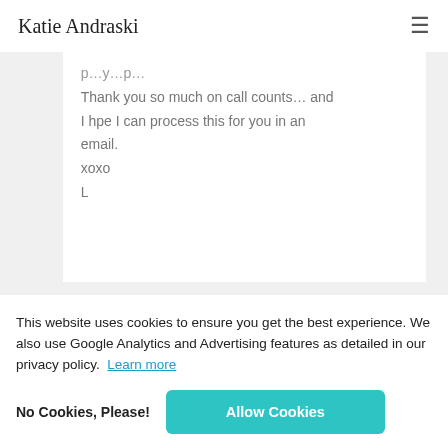Katie Andraski
Thank you so much on call counts... and I hpe I can process this for you in an email.
xoxo
L
This website uses cookies to ensure you get the best experience. We also use Google Analytics and Advertising features as detailed in our privacy policy. Learn more
No Cookies, Please!
Allow Cookies